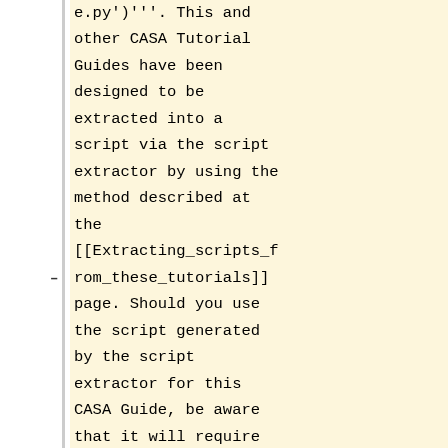e.py')'''. This and other CASA Tutorial Guides have been designed to be extracted into a script via the script extractor by using the method described at the [[Extracting_scripts_from_these_tutorials]] page. Should you use the script generated by the script extractor for this CASA Guide, be aware that it will require some small amount of interaction related to the plotting, occasionally suggesting that you